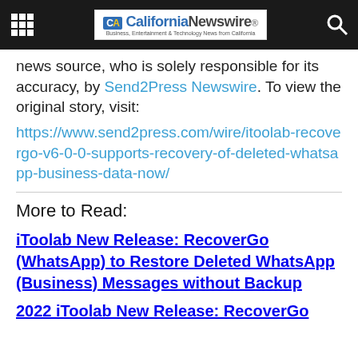[Figure (logo): California Newswire logo with grid menu icon and search icon on black header bar]
news source, who is solely responsible for its accuracy, by Send2Press Newswire. To view the original story, visit:
https://www.send2press.com/wire/itoolab-recovergo-v6-0-0-supports-recovery-of-deleted-whatsapp-business-data-now/
More to Read:
iToolab New Release: RecoverGo (WhatsApp) to Restore Deleted WhatsApp (Business) Messages without Backup
2022 iToolab New Release: RecoverGo